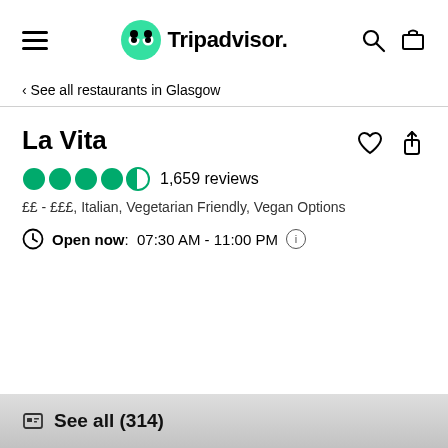Tripadvisor
< See all restaurants in Glasgow
La Vita
1,659 reviews
££ - £££, Italian, Vegetarian Friendly, Vegan Options
Open now: 07:30 AM - 11:00 PM
See all (314)